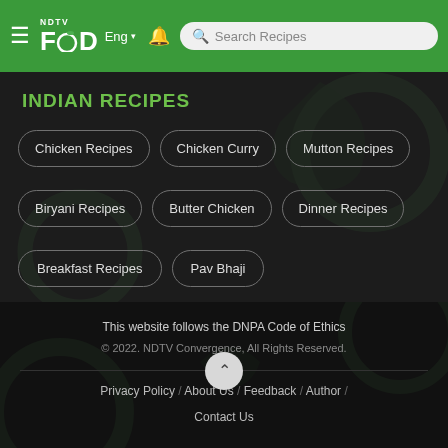NDTV Food — Eng | Search Recipes
INDIAN RECIPES
Chicken Recipes
Chicken Curry
Mutton Recipes
Biryani Recipes
Butter Chicken
Dinner Recipes
Breakfast Recipes
Pav Bhaji
This website follows the DNPA Code of Ethics
© 2022. NDTV Convergence, All Rights Reserved.
Privacy Policy / About Us / Feedback / Author / Contact Us